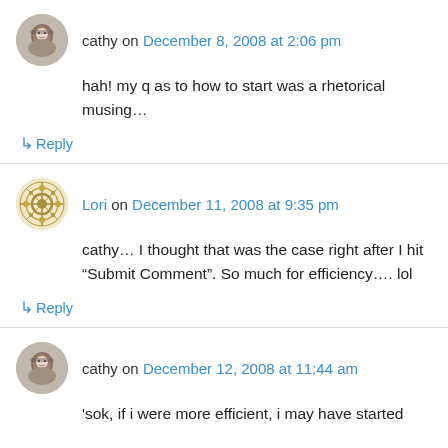[Figure (photo): Round avatar photo of cathy, an older person with glasses]
cathy on December 8, 2008 at 2:06 pm
hah! my q as to how to start was a rhetorical musing…
↳ Reply
[Figure (illustration): Round avatar with decorative snowflake/mandala pattern in olive/gold tones for Lori]
Lori on December 11, 2008 at 9:35 pm
cathy… I thought that was the case right after I hit “Submit Comment”. So much for efficiency…. lol
↳ Reply
[Figure (photo): Round avatar photo of cathy, same as first]
cathy on December 12, 2008 at 11:44 am
'sok, if i were more efficient, i may have started